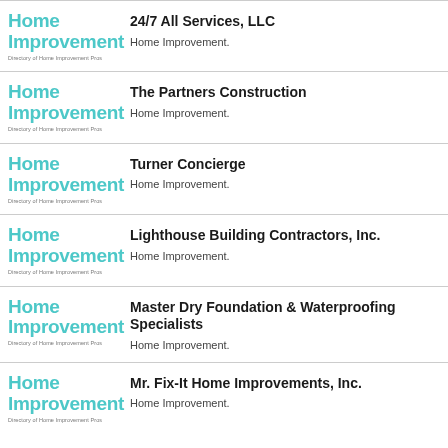24/7 All Services, LLC — Home Improvement.
The Partners Construction — Home Improvement.
Turner Concierge — Home Improvement.
Lighthouse Building Contractors, Inc. — Home Improvement.
Master Dry Foundation & Waterproofing Specialists — Home Improvement.
Mr. Fix-It Home Improvements, Inc. — Home Improvement.